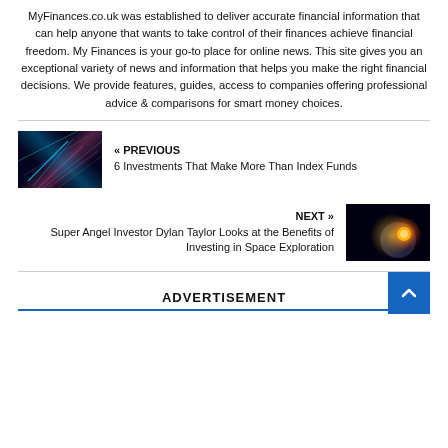MyFinances.co.uk was established to deliver accurate financial information that can help anyone that wants to take control of their finances achieve financial freedom. My Finances is your go-to place for online news. This site gives you an exceptional variety of news and information that helps you make the right financial decisions. We provide features, guides, access to companies offering professional advice & comparisons for smart money choices.
[Figure (photo): Abstract financial data visualization with blue, green and pink light streaks on dark background]
« PREVIOUS
6 Investments That Make More Than Index Funds
[Figure (photo): Space scene with bright glowing light (sun or planet) against dark space background]
NEXT »
Super Angel Investor Dylan Taylor Looks at the Benefits of Investing in Space Exploration
ADVERTISEMENT